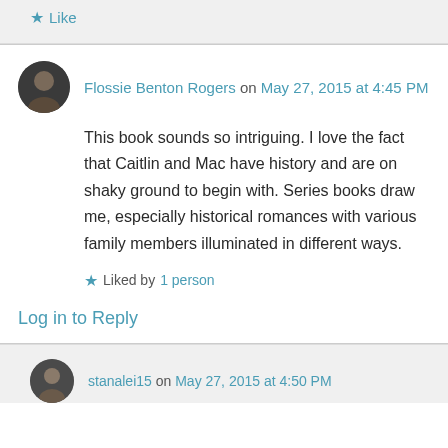Like
Flossie Benton Rogers on May 27, 2015 at 4:45 PM
This book sounds so intriguing. I love the fact that Caitlin and Mac have history and are on shaky ground to begin with. Series books draw me, especially historical romances with various family members illuminated in different ways.
Liked by 1 person
Log in to Reply
stanalei15 on May 27, 2015 at 4:50 PM